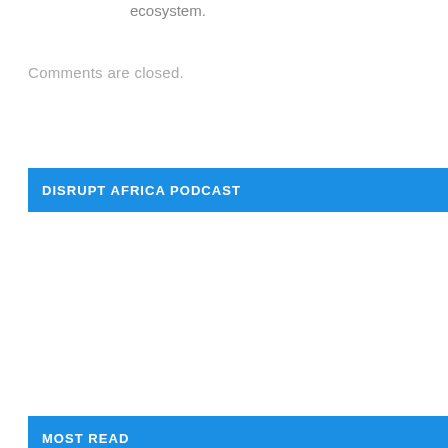ecosystem.
Comments are closed.
DISRUPT AFRICA PODCAST
MOST READ